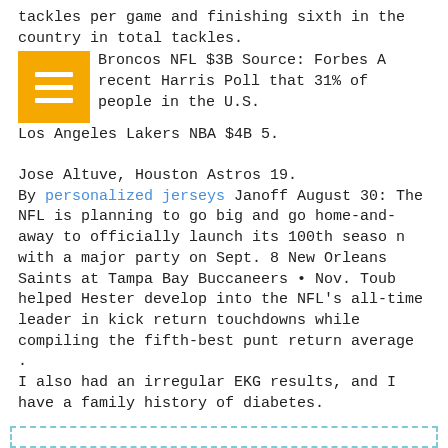tackles per game and finishing sixth in the country in total tackles.
Broncos NFL $3B Source: Forbes A recent Harris Poll that 31% of people in the U.S.
Los Angeles Lakers NBA $4B 5.
Jose Altuve, Houston Astros 19.
By personalized jerseys Janoff August 30: The NFL is planning to go big and go home-and-away to officially launch its 100th seaso n with a major party on Sept. 8 New Orleans Saints at Tampa Bay Buccaneers • Nov. Toub helped Hester develop into the NFL's all-time leader in kick return touchdowns while compiling the fifth-best punt return average . I also had an irregular EKG results, and I have a family history of diabetes.
Under Armour is apparently doing all it can to make that happen.
Max Scherzer, Washington Nationals 8.
New York Knicks NBA $4B 4.
Full story here.